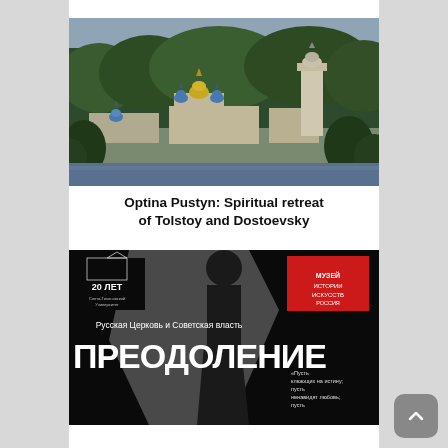[Figure (photo): Aerial/distant view of Optina Pustyn monastery with blue and gold onion domes, bell tower, surrounded by dense forest, overcast sky]
Optina Pustyn: Spiritual retreat of Tolstoy and Dostoevsky
[Figure (photo): Russian exhibition poster with Cyrillic text reading ПРЕОДОЛЕНИЕ (Overcoming), with subtext Русская Церковь и Советская власть. Black and white silhouettes, red museum logo, 20 ЛЕТ emblem, and a quote in Cyrillic on the right side.]